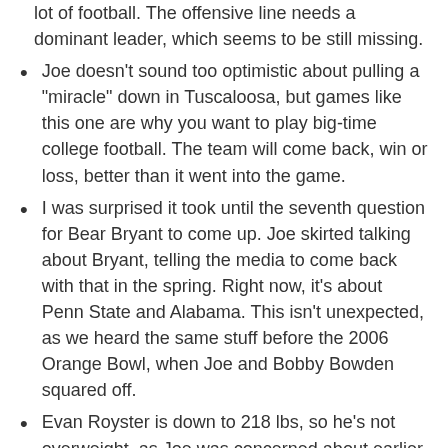lot of football. The offensive line needs a dominant leader, which seems to be still missing.
Joe doesn't sound too optimistic about pulling a "miracle" down in Tuscaloosa, but games like this one are why you want to play big-time college football. The team will come back, win or loss, better than it went into the game.
I was surprised it took until the seventh question for Bear Bryant to come up. Joe skirted talking about Bryant, telling the media to come back with that in the spring. Right now, it's about Penn State and Alabama. This isn't unexpected, as we heard the same stuff before the 2006 Orange Bowl, when Joe and Bobby Bowden squared off.
Evan Royster is down to 218 lbs, so he's not overweight, as Joe was concerned about earlier this summer. Royster needs more running room, and works better out of formations where the QB is under center. Plus, the pass game can use him more as the year goes on.